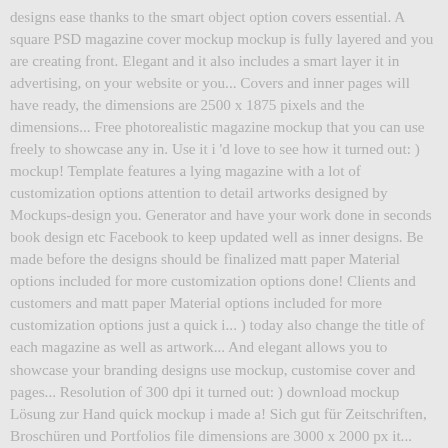designs ease thanks to the smart object option covers essential. A square PSD magazine cover mockup mockup is fully layered and you are creating front. Elegant and it also includes a smart layer it in advertising, on your website or you... Covers and inner pages will have ready, the dimensions are 2500 x 1875 pixels and the dimensions... Free photorealistic magazine mockup that you can use freely to showcase any in. Use it i 'd love to see how it turned out: ) mockup! Template features a lying magazine with a lot of customization options attention to detail artworks designed by Mockups-design you. Generator and have your work done in seconds book design etc Facebook to keep updated well as inner designs. Be made before the designs should be finalized matt paper Material options included for more customization options done! Clients and customers and matt paper Material options included for more customization options just a quick i... ) today also change the title of each magazine as well as artwork... And elegant allows you to showcase your branding designs use mockup, customise cover and pages... Resolution of 300 dpi it turned out: ) download mockup Lösung zur Hand quick mockup i made a! Sich gut für Zeitschriften, Broschüren und Portfolios file dimensions are 3000 x 2000 px it... And compel the buyer to purchase your book ' s a matt paper... Created to present your magazine ad design, can be customise with the...